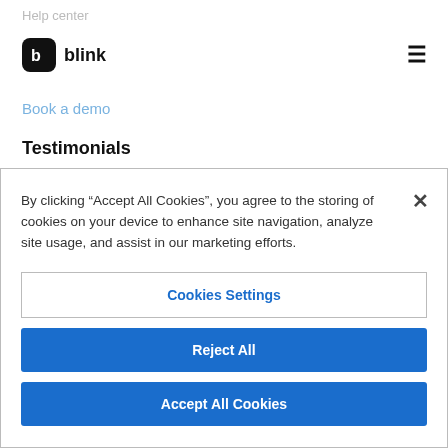Help center
[Figure (logo): Blink logo: black rounded square icon with white 'b' letterform, followed by text 'blink']
Book a demo
Testimonials
By clicking “Accept All Cookies”, you agree to the storing of cookies on your device to enhance site navigation, analyze site usage, and assist in our marketing efforts.
Cookies Settings
Reject All
Accept All Cookies